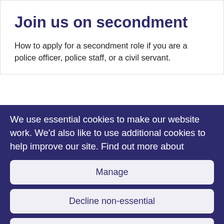Join us on secondment
How to apply for a secondment role if you are a police officer, police staff, or a civil servant.
We use essential cookies to make our website work. We'd also like to use additional cookies to help improve our site. Find out more about
Manage
Decline non-essential
Accept all